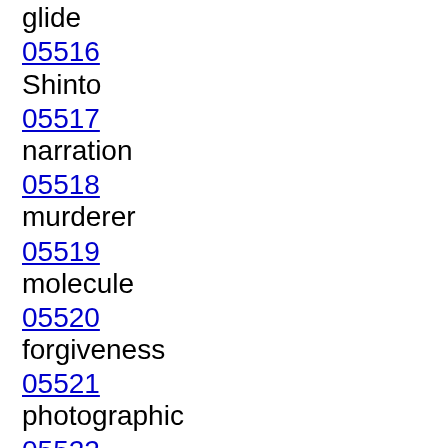05515
glide
05516
Shinto
05517
narration
05518
murderer
05519
molecule
05520
forgiveness
05521
photographic
05522
controversy
05523
insert
05524
changeable
05525
watchdog